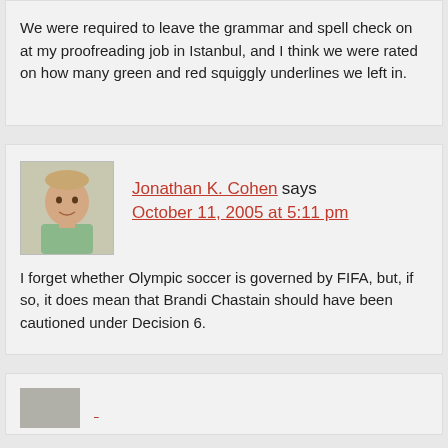We were required to leave the grammar and spell check on at my proofreading job in Istanbul, and I think we were rated on how many green and red squiggly underlines we left in.
Jonathan K. Cohen says
October 11, 2005 at 5:11 pm
I forget whether Olympic soccer is governed by FIFA, but, if so, it does mean that Brandi Chastain should have been cautioned under Decision 6.